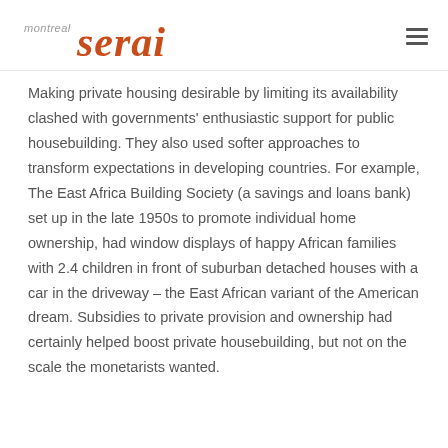montreal serai
Making private housing desirable by limiting its availability clashed with governments' enthusiastic support for public housebuilding. They also used softer approaches to transform expectations in developing countries. For example, The East Africa Building Society (a savings and loans bank) set up in the late 1950s to promote individual home ownership, had window displays of happy African families with 2.4 children in front of suburban detached houses with a car in the driveway – the East African variant of the American dream. Subsidies to private provision and ownership had certainly helped boost private housebuilding, but not on the scale the monetarists wanted.